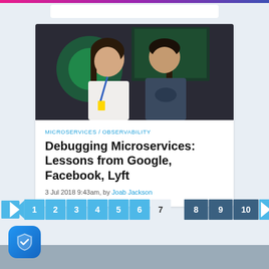[Figure (photo): Photo of two men posing together at a tech conference, one with long dark hair in a white t-shirt with a blue lanyard, one in a dark long-sleeve shirt, with screens/display visible in background]
MICROSERVICES / OBSERVABILITY
Debugging Microservices: Lessons from Google, Facebook, Lyft
3 Jul 2018 9:43am, by Joab Jackson
[Figure (infographic): Pagination navigation with left arrow, numbered buttons 1-10 (button 7 is current page highlighted differently), right arrow. Buttons 1-6 in light blue, 7 in light gray/white, 8-10 in dark blue.]
[Figure (logo): Blue rounded square shield icon with white checkmark]